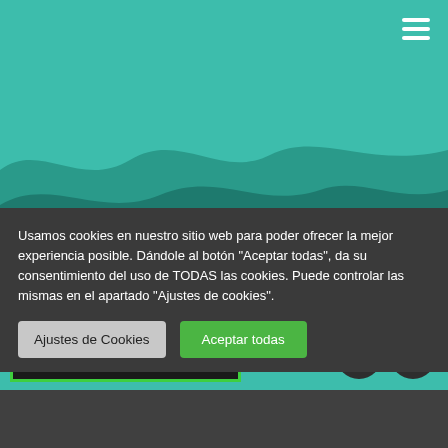[Figure (screenshot): Teal green header bar with hamburger menu icon in top right corner]
[Figure (illustration): Teal background with dark green wave shapes forming a landscape/mountain silhouette]
ELIGE TU FAVORITO
AGOSTO, 2022
Usamos cookies en nuestro sitio web para poder ofrecer la mejor experiencia posible. Dándole al botón "Aceptar todas", da su consentimiento del uso de TODAS las cookies. Puede controlar las mismas en el apartado "Ajustes de cookies".
Ajustes de Cookies
Aceptar todas